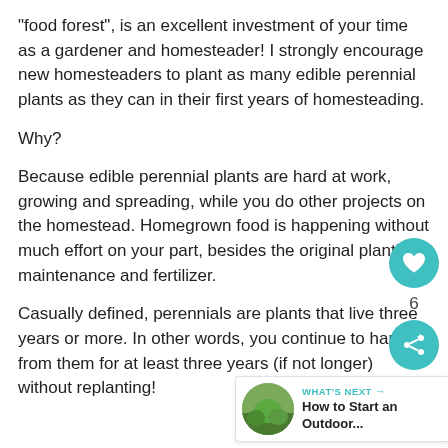“food forest”, is an excellent investment of your time as a gardener and homesteader!  I strongly encourage new homesteaders to plant as many edible perennial plants as they can in their first years of homesteading.
Why?
Because edible perennial plants are hard at work, growing and spreading, while you do other projects on the homestead.  Homegrown food is happening without much effort on your part, besides the original planting, maintenance and fertilizer.
Casually defined, perennials are plants that live three years or more.  In other words, you continue to harvest from them for at least three years (if not longer) without replanting!
[Figure (other): Social media UI overlay: teal heart button with number 6 below it, and a teal share button beneath that]
[Figure (other): What's Next card with thumbnail photo of outdoor garden, label WHAT'S NEXT with arrow, and title 'How to Start an Outdoor...']